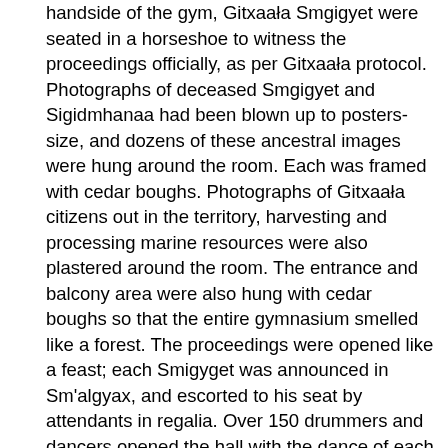handside of the gym, Gitxaała Smgigyet were seated in a horseshoe to witness the proceedings officially, as per Gitxaała protocol. Photographs of deceased Smgigyet and Sigidmhanaa had been blown up to posters-size, and dozens of these ancestral images were hung around the room. Each was framed with cedar boughs. Photographs of Gitxaała citizens out in the territory, harvesting and processing marine resources were also plastered around the room. The entrance and balcony area were also hung with cedar boughs so that the entire gymnasium smelled like a forest. The proceedings were opened like a feast; each Smigyget was announced in Sm'algyax, and escorted to his seat by attendants in regalia. Over 150 drummers and dancers opened the hall with the dance of each of the four tribes. The opening protocols took almost two hours. Gitxaała citizens from all over the province came home to witness the hearings, so that the gym was full. Throughout the week, every meal served to the huge contingent of JRP support staff and Enbridge representatives was Gitxaała foods: salmon, herring eggs, seaweed, sea urchins, sea cucumbers, sea prunes, eulachon, octopus and many other species. The JRP proceedings were halted on three different occasions as Gitxaała protocol was followed to amend mistakes